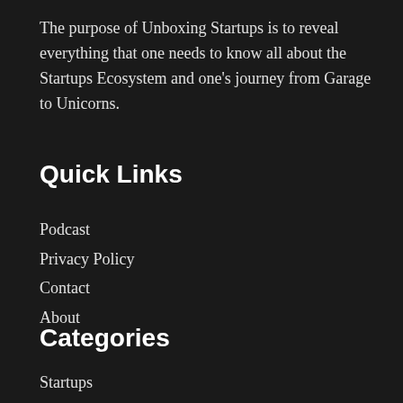The purpose of Unboxing Startups is to reveal everything that one needs to know all about the Startups Ecosystem and one's journey from Garage to Unicorns.
Quick Links
Podcast
Privacy Policy
Contact
About
Categories
Startups